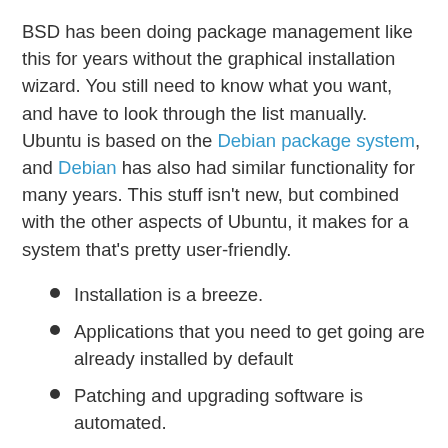BSD has been doing package management like this for years without the graphical installation wizard. You still need to know what you want, and have to look through the list manually. Ubuntu is based on the Debian package system, and Debian has also had similar functionality for many years. This stuff isn't new, but combined with the other aspects of Ubuntu, it makes for a system that's pretty user-friendly.
Installation is a breeze.
Applications that you need to get going are already installed by default
Patching and upgrading software is automated.
Installing new software is as easy as picking it from a list.
Almost anyone can install and use Ubuntu without much of a fuss. What more could you ask for? Quite a bit, actually. Compared to Windows or Mac OS X (still the two heaviest hitters in the desktop operating system market), all Linux